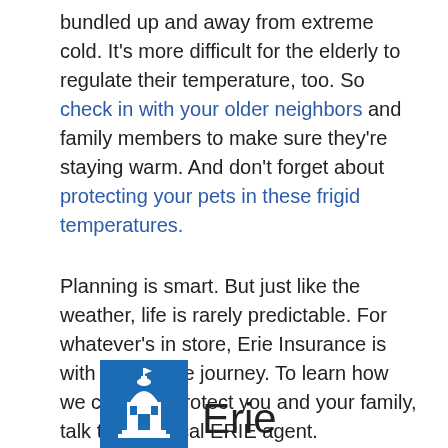bundled up and away from extreme cold. It's more difficult for the elderly to regulate their temperature, too. So check in with your older neighbors and family members to make sure they're staying warm. And don't forget about protecting your pets in these frigid temperatures.
Planning is smart. But just like the weather, life is rarely predictable. For whatever's in store, Erie Insurance is with you on the journey. To learn how we can help protect you and your family, talk to your local ERIE agent.
[Figure (logo): Erie Insurance logo: blue square with white building/dome icon on left, 'Erie' text in dark gray on right]